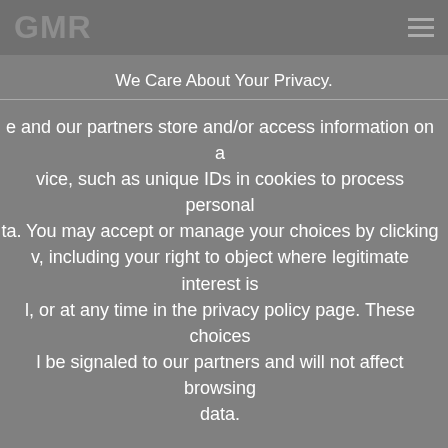GMR
We Care About Your Privacy.
e and our partners store and/or access information on a vice, such as unique IDs in cookies to process personal ta. You may accept or manage your choices by clicking v, including your right to object where legitimate interest is l, or at any time in the privacy policy page. These choices l be signaled to our partners and will not affect browsing data.
Cookie settings
✗  Deny all
✓  Accept all